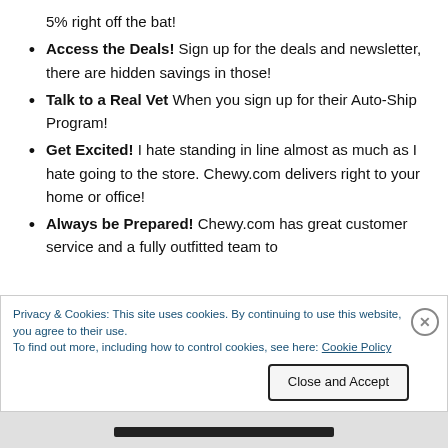5% right off the bat!
Access the Deals! Sign up for the deals and newsletter, there are hidden savings in those!
Talk to a Real Vet When you sign up for their Auto-Ship Program!
Get Excited! I hate standing in line almost as much as I hate going to the store. Chewy.com delivers right to your home or office!
Always be Prepared! Chewy.com has great customer service and a fully outfitted team to
Privacy & Cookies: This site uses cookies. By continuing to use this website, you agree to their use.
To find out more, including how to control cookies, see here: Cookie Policy
Close and Accept